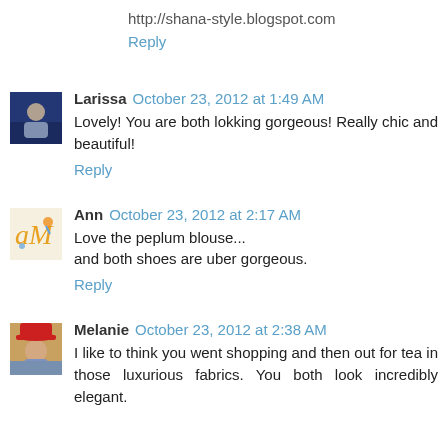http://shana-style.blogspot.com
Reply
Larissa October 23, 2012 at 1:49 AM
Lovely! You are both lokking gorgeous! Really chic and beautiful!
Reply
Ann October 23, 2012 at 2:17 AM
Love the peplum blouse...
and both shoes are uber gorgeous.
Reply
Melanie October 23, 2012 at 2:38 AM
I like to think you went shopping and then out for tea in those luxurious fabrics. You both look incredibly elegant.